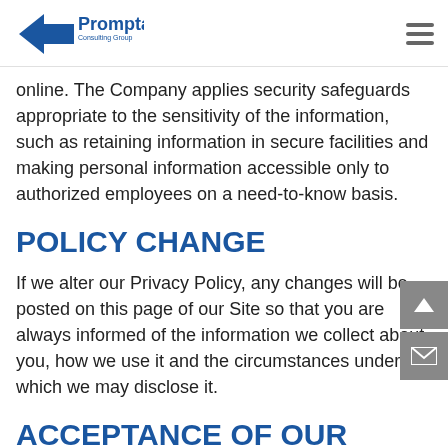Prompta Consulting Group
online. The Company applies security safeguards appropriate to the sensitivity of the information, such as retaining information in secure facilities and making personal information accessible only to authorized employees on a need-to-know basis.
POLICY CHANGE
If we alter our Privacy Policy, any changes will be posted on this page of our Site so that you are always informed of the information we collect about you, how we use it and the circumstances under which we may disclose it.
ACCEPTANCE OF OUR